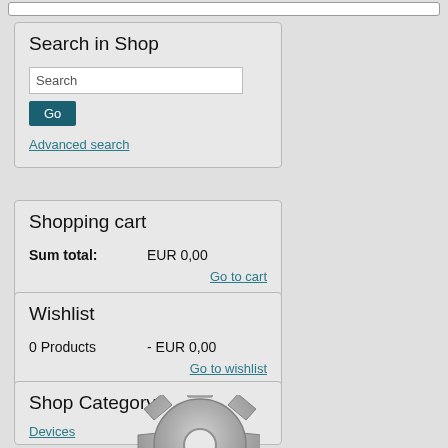Search in Shop
Search
Go
Advanced search
Shopping cart
Sum total:   EUR 0,00
Go to cart
Wishlist
0 Products   - EUR 0,00
Go to wishlist
Shop Category
Devices
[Figure (illustration): Grey gear/cog icon]